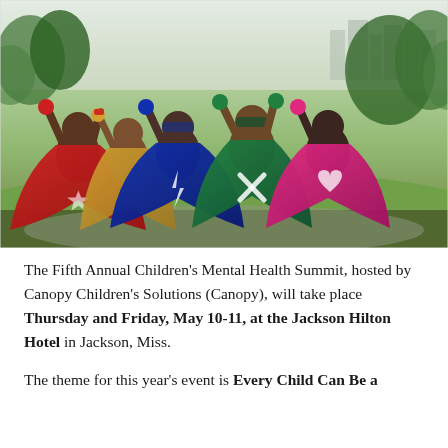[Figure (photo): Five children dressed in superhero capes (red, gold, blue, green, pink) with arms raised in triumph, viewed from behind, standing in a park with green trees and city skyline in background.]
The Fifth Annual Children's Mental Health Summit, hosted by Canopy Children's Solutions (Canopy), will take place Thursday and Friday, May 10-11, at the Jackson Hilton Hotel in Jackson, Miss.
The theme for this year's event is Every Child Can Be a